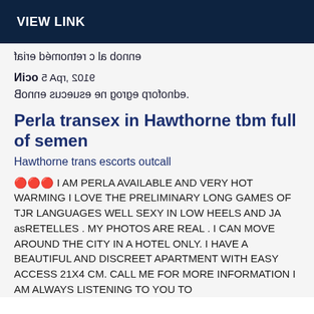VIEW LINK
faire démonter c la bonne
Nico 5 Apr, 2019
Bonne suceuse en gorge profonde.
Perla transex in Hawthorne tbm full of semen
Hawthorne trans escorts outcall
🔴🔴🔴 I AM PERLA AVAILABLE AND VERY HOT WARMING I LOVE THE PRELIMINARY LONG GAMES OF TJR LANGUAGES WELL SEXY IN LOW HEELS AND JA asRETELLES . MY PHOTOS ARE REAL . I CAN MOVE AROUND THE CITY IN A HOTEL ONLY. I HAVE A BEAUTIFUL AND DISCREET APARTMENT WITH EASY ACCESS 21X4 CM. CALL ME FOR MORE INFORMATION I AM ALWAYS LISTENING TO YOU TO SATISFY YOU I AM WAITING FOR YOUR CALL TIC